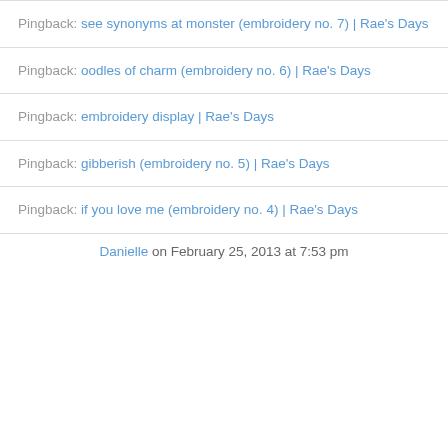Pingback: see synonyms at monster (embroidery no. 7) | Rae's Days
Pingback: oodles of charm (embroidery no. 6) | Rae's Days
Pingback: embroidery display | Rae's Days
Pingback: gibberish (embroidery no. 5) | Rae's Days
Pingback: if you love me (embroidery no. 4) | Rae's Days
Danielle on February 25, 2013 at 7:53 pm